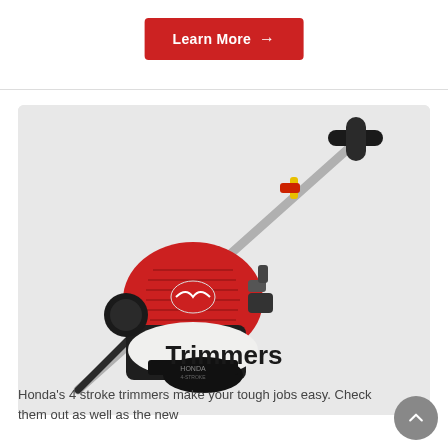Learn More →
[Figure (photo): Honda 4-stroke trimmer/brushcutter engine unit with red engine cover, black shaft and handle, photographed against a light grey background.]
Trimmers
Honda's 4 stroke trimmers make your tough jobs easy. Check them out as well as the new